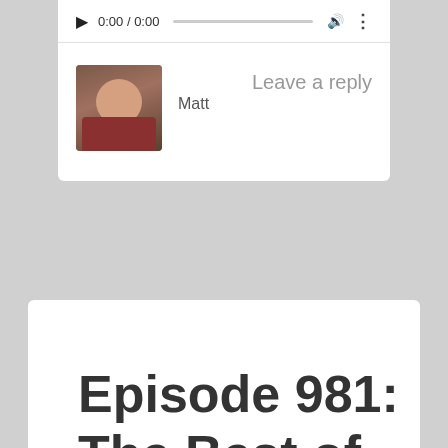[Figure (screenshot): Audio player bar showing play button, time 0:00/0:00, progress bar, volume icon, and more options icon]
[Figure (photo): Small square avatar photo of a person smiling, wearing a plaid shirt]
Matt
Leave a reply
Episode 981: The Best of the Best: Part